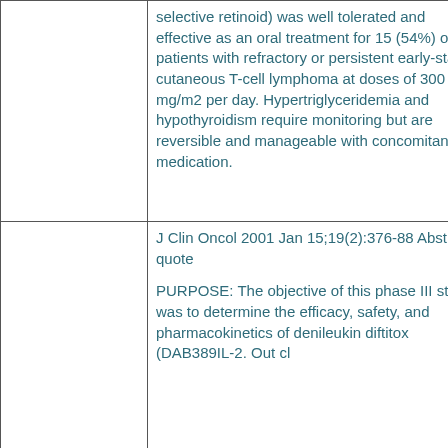|  | selective retinoid) was well tolerated and effective as an oral treatment for 15 (54%) of 28 patients with refractory or persistent early-stage cutaneous T-cell lymphoma at doses of 300 mg/m2 per day. Hypertriglyceridemia and hypothyroidism require monitoring but are reversible and manageable with concomitant medication. |
|  | J Clin Oncol 2001 Jan 15;19(2):376-88 Abstract quote

PURPOSE: The objective of this phase III study was to determine the efficacy, safety, and pharmacokinetics of denileukin diftitox (DAB389IL-2. Out cl... |